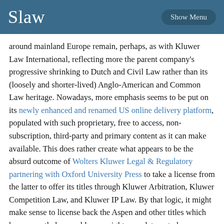Slaw  Show Menu
around mainland Europe remain, perhaps, as with Kluwer Law International, reflecting more the parent company’s progressive shrinking to Dutch and Civil Law rather than its (loosely and shorter-lived) Anglo-American and Common Law heritage. Nowadays, more emphasis seems to be put on its newly enhanced and renamed US online delivery platform, populated with such proprietary, free to access, non-subscription, third-party and primary content as it can make available. This does rather create what appears to be the absurd outcome of Wolters Kluwer Legal & Regulatory partnering with Oxford University Press to take a license from the latter to offer its titles through Kluwer Arbitration, Kluwer Competition Law, and Kluwer IP Law. By that logic, it might make sense to license back the Aspen and other titles which have recently been sold; one might speculate as to how sustainable the comparatively low margin legal and regulatory unit would be